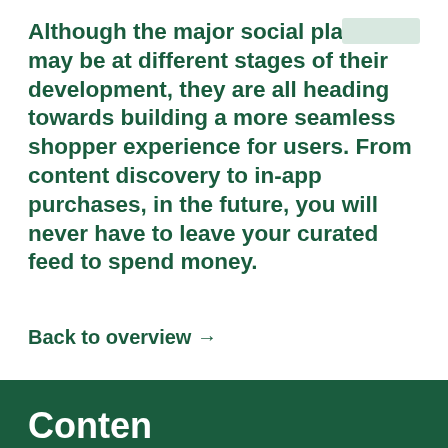Although the major social platforms may be at different stages of their development, they are all heading towards building a more seamless shopper experience for users. From content discovery to in-app purchases, in the future, you will never have to leave your curated feed to spend money.
Back to overview →
Conten…